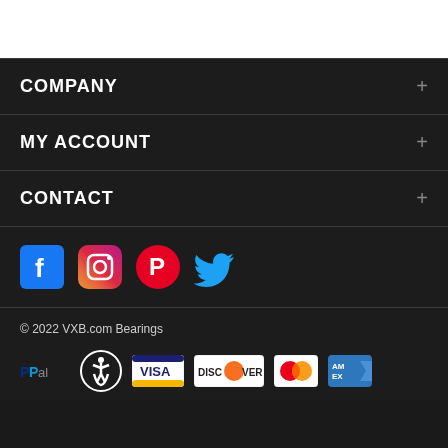COMPANY
MY ACCOUNT
CONTACT
[Figure (other): Social media icons: Facebook, Instagram, Pinterest, Twitter]
© 2022 VXB.com Bearings
[Figure (other): Payment method logos: PayPal, accessibility icon, VISA, DISCOVER, Mastercard, American Express]